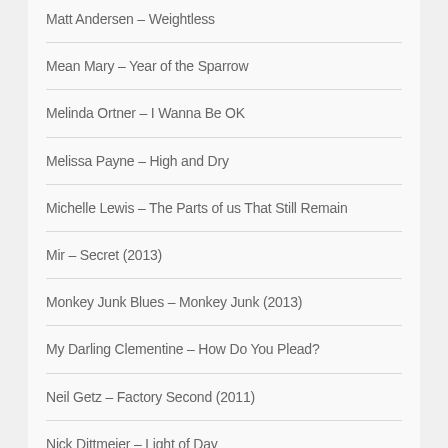Matt Andersen – Weightless
Mean Mary – Year of the Sparrow
Melinda Ortner – I Wanna Be OK
Melissa Payne – High and Dry
Michelle Lewis – The Parts of us That Still Remain
Mir – Secret (2013)
Monkey Junk Blues – Monkey Junk (2013)
My Darling Clementine – How Do You Plead?
Neil Getz – Factory Second (2011)
Nick Dittmeier – Light of Day